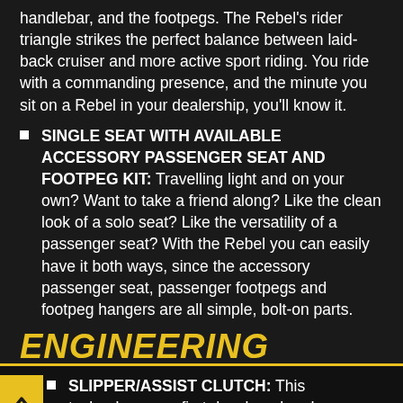handlebar, and the footpegs. The Rebel's rider triangle strikes the perfect balance between laid-back cruiser and more active sport riding. You ride with a commanding presence, and the minute you sit on a Rebel in your dealership, you'll know it.
SINGLE SEAT WITH AVAILABLE ACCESSORY PASSENGER SEAT AND FOOTPEG KIT: Travelling light and on your own? Want to take a friend along? Like the clean look of a solo seat? Like the versatility of a passenger seat? With the Rebel you can easily have it both ways, since the accessory passenger seat, passenger footpegs and footpeg hangers are all simple, bolt-on parts.
ENGINEERING
SLIPPER/ASSIST CLUTCH: This technology was first developed and perfected in Honda's racing machines. The slipper/assist clutch m... lighter clutch pull at the lever, but a solid lockup...